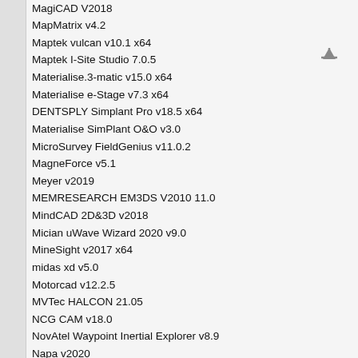MagiCAD V2018
MapMatrix v4.2
Maptek vulcan v10.1 x64
Maptek I-Site Studio 7.0.5
Materialise.3-matic v15.0 x64
Materialise e-Stage v7.3 x64
DENTSPLY Simplant Pro v18.5 x64
Materialise SimPlant O&O v3.0
MicroSurvey FieldGenius v11.0.2
MagneForce v5.1
Meyer v2019
MEMRESEARCH EM3DS V2010 11.0
MindCAD 2D&3D v2018
Mician uWave Wizard 2020 v9.0
MineSight v2017 x64
midas xd v5.0
Motorcad v12.2.5
MVTec HALCON 21.05
NCG CAM v18.0
NovAtel Waypoint Inertial Explorer v8.9
Napa v2020
norsar v2020
Neuralog v2020
Oasys.Suite 18.1 x64
OMNI 3D v2020 x64